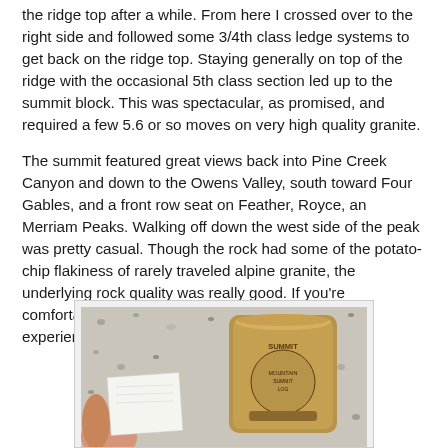the ridge top after a while. From here I crossed over to the right side and followed some 3/4th class ledge systems to get back on the ridge top. Staying generally on top of the ridge with the occasional 5th class section led up to the summit block. This was spectacular, as promised, and required a few 5.6 or so moves on very high quality granite.
The summit featured great views back into Pine Creek Canyon and down to the Owens Valley, south toward Four Gables, and a front row seat on Feather, Royce, an Merriam Peaks. Walking off down the west side of the peak was pretty casual. Though the rock had some of the potato-chip flakiness of rarely traveled alpine granite, the underlying rock quality was really good. If you're comfortable at the grade and have some alpine rock experience, this route could be a great adventure.
[Figure (photo): Photo of a hand holding a piece of paper next to a summit register canister on granite rock surface.]